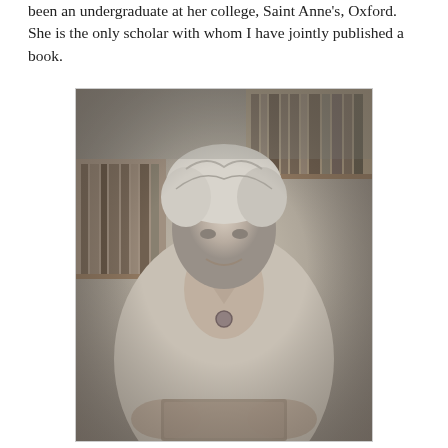been an undergraduate at her college, Saint Anne's, Oxford.  She is the only scholar with whom I have jointly published a book.
[Figure (photo): Black and white photograph of an elderly woman with curly/wavy white hair, seated and smiling, holding what appears to be a book or folder. Bookshelves are visible in the background. She is wearing a light-colored blouse or cardigan with a brooch.]